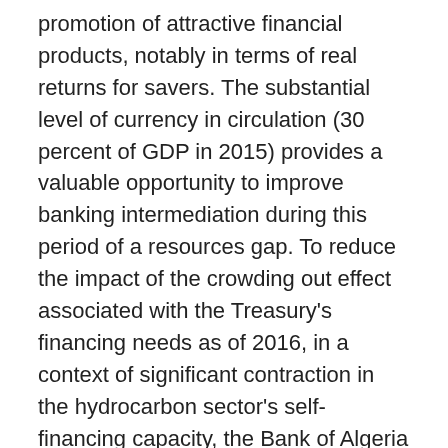promotion of attractive financial products, notably in terms of real returns for savers. The substantial level of currency in circulation (30 percent of GDP in 2015) provides a valuable opportunity to improve banking intermediation during this period of a resources gap. To reduce the impact of the crowding out effect associated with the Treasury's financing needs as of 2016, in a context of significant contraction in the hydrocarbon sector's self-financing capacity, the Bank of Algeria will provide liquidity to the economy to stimulate the dynamism of sound credits, whilst preserving the sustainability of the net external position. This is dictated by the need to strengthen growth potential.
Achieving the non-hydrocarbon growth potential will